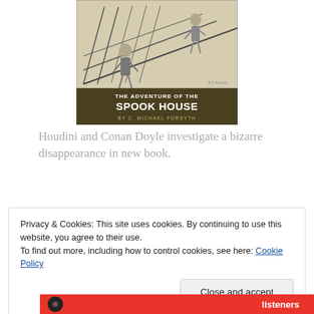[Figure (illustration): Book cover for 'The Adventure of the Spook House by C. Michael Forsyth' showing a black and white illustration of figures on a staircase, with title text on a dark brown/olive background]
Houdini and Conan Doyle investigate a bizarre disappearance in new book.
Privacy & Cookies: This site uses cookies. By continuing to use this website, you agree to their use.
To find out more, including how to control cookies, see here: Cookie Policy
Close and accept
[Figure (illustration): Bottom banner image in red, partially visible, with text 'listeners']